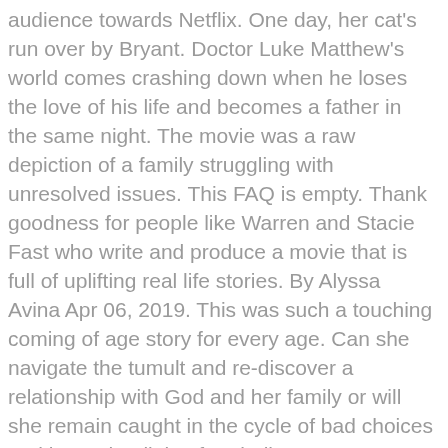audience towards Netflix. One day, her cat's run over by Bryant. Doctor Luke Matthew's world comes crashing down when he loses the love of his life and becomes a father in the same night. The movie was a raw depiction of a family struggling with unresolved issues. This FAQ is empty. Thank goodness for people like Warren and Stacie Fast who write and produce a movie that is full of uplifting real life stories. By Alyssa Avina Apr 06, 2019. This was such a touching coming of age story for every age. Can she navigate the tumult and re-discover a relationship with God and her family or will she remain caught in the cycle of bad choices and lose what little of... Finding Grace was a beautiful story of very relatable life difficulties. As Alaska tries to minimally fulfill her court obligation and dodge actual jail time, she deals with peer pressure, static from her family, outside influences and demons from her past. What an excellent movie, I absolutely love it! This story was well done. Netflix Netflix. Finding Grace ( 159 ) IMDb 4.9 1 h 51 min 2020 13+ As she develops a close